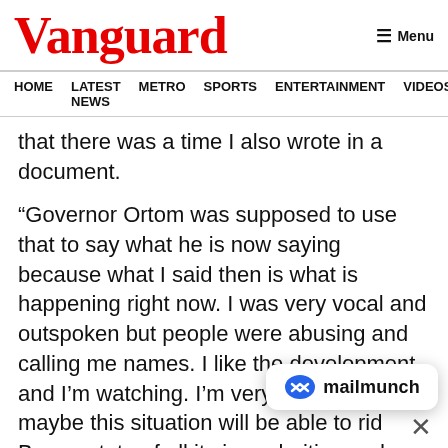Vanguard
HOME  LATEST NEWS  METRO  SPORTS  ENTERTAINMENT  VIDEOS
that there was a time I also wrote in a document.
“Governor Ortom was supposed to use that to say what he is now saying because what I said then is what is happening right now. I was very vocal and outspoken but people were abusing and calling me names. I like the development and I’m watching. I’m very happy because maybe this situation will be able to rid Benue state of all its irregularities and maybe after thi… grow and develop.”